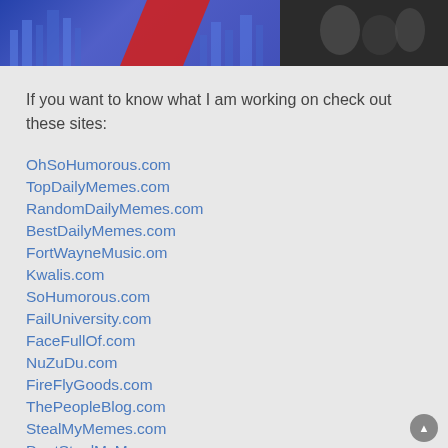[Figure (photo): Website banner image with two panels: left panel shows a stylized blue cityscape with a red shape overlay, right panel shows a dark photo of people]
If you want to know what I am working on check out these sites:
OhSoHumorous.com
TopDailyMemes.com
RandomDailyMemes.com
BestDailyMemes.com
FortWayneMusic.om
Kwalis.com
SoHumorous.com
FailUniversity.com
FaceFullOf.com
NuZuDu.com
FireFlyGoods.com
ThePeopleBlog.com
StealMyMemes.com
DontStealMyMemes.com
More to come...